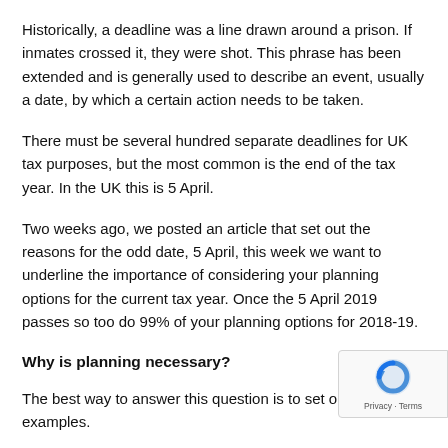Historically, a deadline was a line drawn around a prison. If inmates crossed it, they were shot. This phrase has been extended and is generally used to describe an event, usually a date, by which a certain action needs to be taken.
There must be several hundred separate deadlines for UK tax purposes, but the most common is the end of the tax year. In the UK this is 5 April.
Two weeks ago, we posted an article that set out the reasons for the odd date, 5 April, this week we want to underline the importance of considering your planning options for the current tax year. Once the 5 April 2019 passes so too do 99% of your planning options for 2018-19.
Why is planning necessary?
The best way to answer this question is to set out two examples.
1.  Is the income of the highest earner in your family